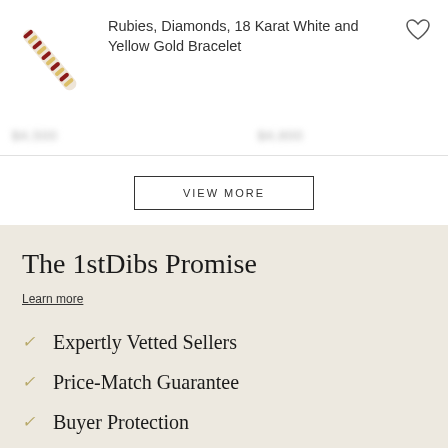[Figure (photo): Diagonal bracelet with rubies and diamonds set in white and yellow gold]
Rubies, Diamonds, 18 Karat White and Yellow Gold Bracelet
VIEW MORE
The 1stDibs Promise
Learn more
Expertly Vetted Sellers
Price-Match Guarantee
Buyer Protection
Confident Checkout